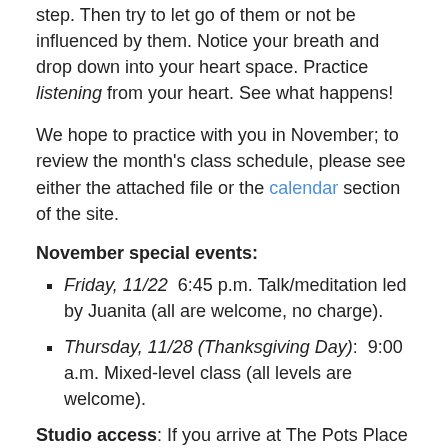step.  Then try to let go of them or not be influenced by them.  Notice your breath and drop down into your heart space. Practice listening from your heart. See what happens!
We hope to practice with you in November; to review the month's class schedule, please see either the attached file or the calendar section of the site.
November special events:
Friday, 11/22  6:45 p.m. Talk/meditation led by Juanita (all are welcome, no charge).
Thursday, 11/28 (Thanksgiving Day):  9:00 a.m. Mixed-level class (all levels are welcome).
Studio access:  If you arrive at The Pots Place after a class has begun, remember that you can still join us.  Just